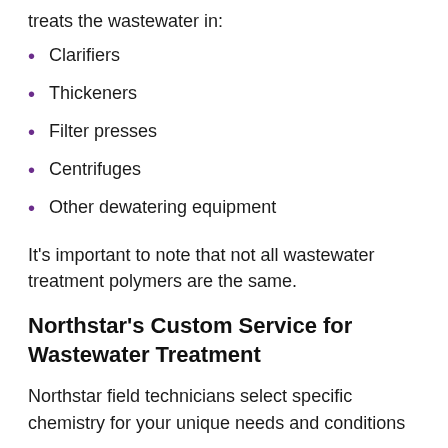treats the wastewater in:
Clarifiers
Thickeners
Filter presses
Centrifuges
Other dewatering equipment
It's important to note that not all wastewater treatment polymers are the same.
Northstar's Custom Service for Wastewater Treatment
Northstar field technicians select specific chemistry for your unique needs and conditions